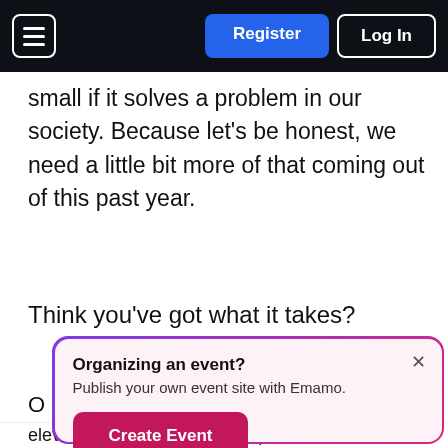Register | Log In
small if it solves a problem in our society. Because let’s be honest, we need a little bit more of that coming out of this past year.
Think you’ve got what it takes?
[Figure (screenshot): Popup overlay with heading 'Organizing an event?', subtext 'Publish your own event site with Emamo.', a 'Create Event' button, and a close (x) button. The popup has a gradient purple-to-pink border on a light pink background.]
elevator pitch so you can prepare for the